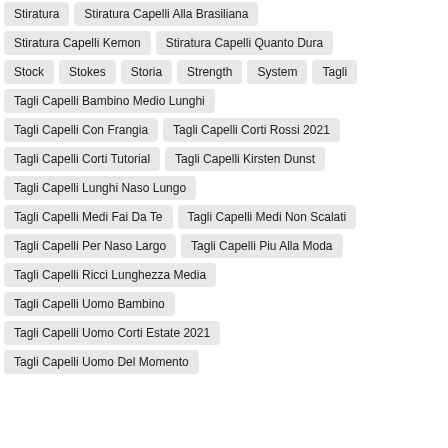Stiratura
Stiratura Capelli Alla Brasiliana
Stiratura Capelli Kemon
Stiratura Capelli Quanto Dura
Stock
Stokes
Storia
Strength
System
Tagli
Tagli Capelli Bambino Medio Lunghi
Tagli Capelli Con Frangia
Tagli Capelli Corti Rossi 2021
Tagli Capelli Corti Tutorial
Tagli Capelli Kirsten Dunst
Tagli Capelli Lunghi Naso Lungo
Tagli Capelli Medi Fai Da Te
Tagli Capelli Medi Non Scalati
Tagli Capelli Per Naso Largo
Tagli Capelli Piu Alla Moda
Tagli Capelli Ricci Lunghezza Media
Tagli Capelli Uomo Bambino
Tagli Capelli Uomo Corti Estate 2021
Tagli Capelli Uomo Del Momento